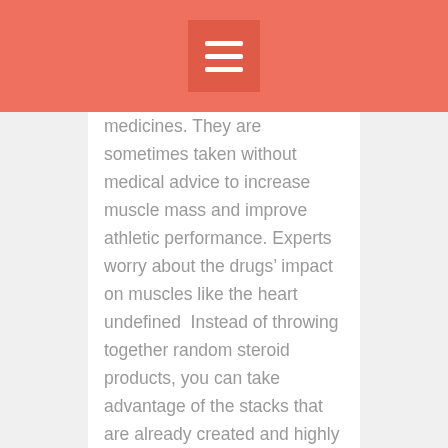medicines. They are sometimes taken without medical advice to increase muscle mass and improve athletic performance. Experts worry about the drugs’ impact on muscles like the heart undefined  Instead of throwing together random steroid products, you can take advantage of the stacks that are already created and highly recommended, where to buy cheap steroids . These drugs and supplements have been exhaustively studied and well-tested. Anabolic steroids have dangerous physical, mental, and emotional side effects. These may be more dangerous in young adults